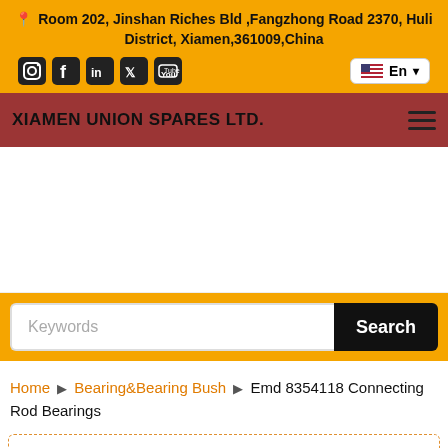📍 Room 202, Jinshan Riches Bld ,Fangzhong Road 2370, Huli District, Xiamen,361009,China
[Figure (logo): Social media icons: Instagram, Facebook, LinkedIn, Twitter, YouTube; Language selector showing US flag and En dropdown]
XIAMEN UNION SPARES LTD.
[Figure (other): White blank banner/advertisement area]
Keywords [Search button]
Home ▶ Bearing&Bearing Bush ▶ Emd 8354118 Connecting Rod Bearings